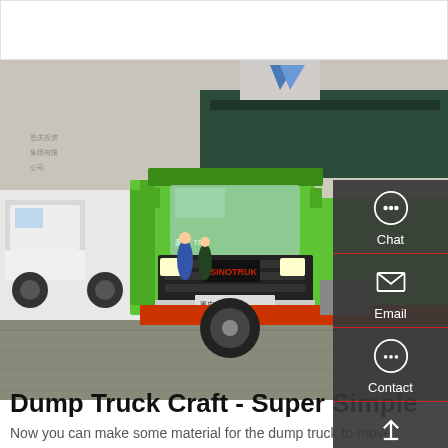[Figure (photo): A green SINOTRUK HOWO dump truck parked at an outdoor event, with other trucks and a building in the background.]
Dump Truck Craft - Super Simple
Now you can make some material for the dump truck to move